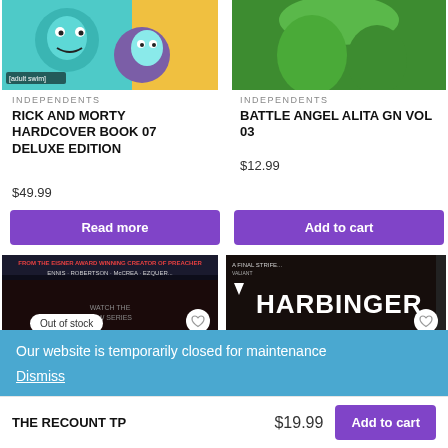[Figure (illustration): Rick and Morty cartoon characters on a colorful background with 'adult swim' label]
INDEPENDENTS
RICK AND MORTY HARDCOVER BOOK 07 DELUXE EDITION
$49.99
Read more
[Figure (illustration): Green background, top portion of anime character from Battle Angel Alita]
INDEPENDENTS
BATTLE ANGEL ALITA GN VOL 03
$12.99
Add to cart
[Figure (photo): Dark comic book cover with red text, showing Preacher series. Out of stock badge overlaid.]
[Figure (photo): Dark Harbinger comic book cover with white bold title text and Valiant logo]
Our website is temporarily closed for maintenance
Dismiss
THE RECOUNT TP
$19.99
Add to cart